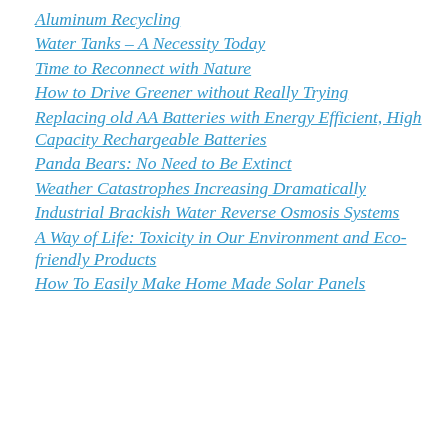Aluminum Recycling
Water Tanks – A Necessity Today
Time to Reconnect with Nature
How to Drive Greener without Really Trying
Replacing old AA Batteries with Energy Efficient, High Capacity Rechargeable Batteries
Panda Bears: No Need to Be Extinct
Weather Catastrophes Increasing Dramatically
Industrial Brackish Water Reverse Osmosis Systems
A Way of Life: Toxicity in Our Environment and Eco-friendly Products
How To Easily Make Home Made Solar Panels